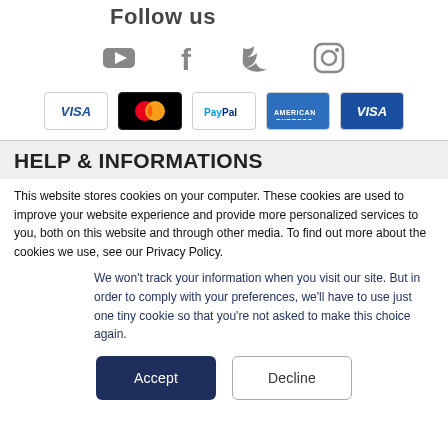Follow us
[Figure (illustration): Social media icons: YouTube, Facebook, Twitter, Instagram]
[Figure (illustration): Payment method logos: VISA, Mastercard, PayPal, American Express, VISA (blue)]
HELP & INFORMATIONS
This website stores cookies on your computer. These cookies are used to improve your website experience and provide more personalized services to you, both on this website and through other media. To find out more about the cookies we use, see our Privacy Policy.
We won't track your information when you visit our site. But in order to comply with your preferences, we'll have to use just one tiny cookie so that you're not asked to make this choice again.
Accept | Decline